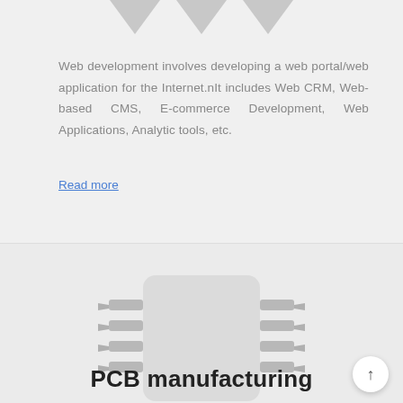Web development involves developing a web portal/web application for the Internet.nIt includes Web CRM, Web-based CMS, E-commerce Development, Web Applications, Analytic tools, etc.
Read more
[Figure (illustration): PCB manufacturing illustration showing a circuit board with connector pins on left and right sides, with a lighter colored rectangular board in the center]
PCB manufacturing
One Stop PCB fab & designing house